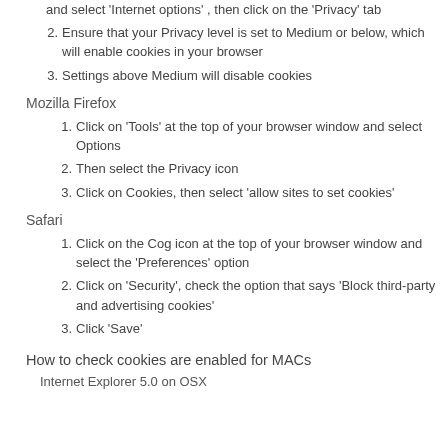and select 'Internet options' , then click on the 'Privacy' tab
Ensure that your Privacy level is set to Medium or below, which will enable cookies in your browser
Settings above Medium will disable cookies
Mozilla Firefox
Click on 'Tools' at the top of your browser window and select Options
Then select the Privacy icon
Click on Cookies, then select 'allow sites to set cookies'
Safari
Click on the Cog icon at the top of your browser window and select the 'Preferences' option
Click on 'Security', check the option that says 'Block third-party and advertising cookies'
Click 'Save'
How to check cookies are enabled for MACs
Internet Explorer 5.0 on OSX